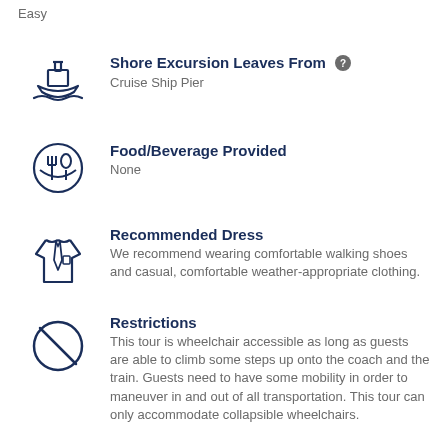Easy
Shore Excursion Leaves From
Cruise Ship Pier
Food/Beverage Provided
None
Recommended Dress
We recommend wearing comfortable walking shoes and casual, comfortable weather-appropriate clothing.
Restrictions
This tour is wheelchair accessible as long as guests are able to climb some steps up onto the coach and the train. Guests need to have some mobility in order to maneuver in and out of all transportation. This tour can only accommodate collapsible wheelchairs.